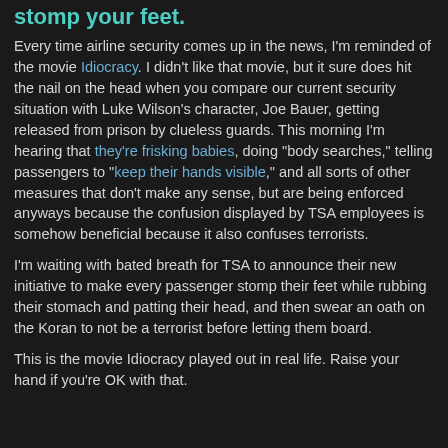stomp your feet.
Every time airline security comes up in the news, I'm reminded of the movie Idiocracy. I didn't like that movie, but it sure does hit the nail on the head when you compare our current security situation with Luke Wilson's character, Joe Bauer, getting released from prison by clueless guards. This morning I'm hearing that they're frisking babies, doing "body searches," telling passengers to "keep their hands visible," and all sorts of other measures that don't make any sense, but are being enforced anyways because the confusion displayed by TSA employees is somehow beneficial because it also confuses terrorists.
I'm waiting with bated breath for TSA to announce their new initiative to make every passenger stomp their feet while rubbing their stomach and patting their head, and then swear an oath on the Koran to not be a terrorist before letting them board.
This is the movie Idiocracy played out in real life. Raise your hand if you're OK with that.